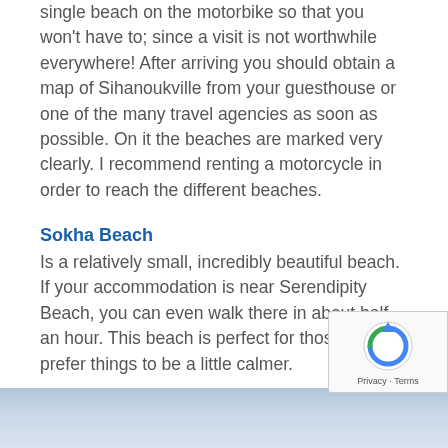single beach on the motorbike so that you won't have to; since a visit is not worthwhile everywhere! After arriving you should obtain a map of Sihanoukville from your guesthouse or one of the many travel agencies as soon as possible. On it the beaches are marked very clearly. I recommend renting a motorcycle in order to reach the different beaches.
Sokha Beach
Is a relatively small, incredibly beautiful beach. If your accommodation is near Serendipity Beach, you can even walk there in about half an hour. This beach is perfect for those who prefer things to be a little calmer.
[Figure (photo): Blue-grey gradient image strip at the bottom of the page, representing a beach or sky scene]